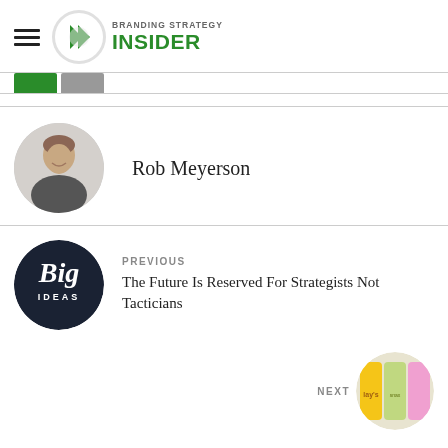Branding Strategy Insider
Rob Meyerson
[Figure (photo): Circular profile photo of Rob Meyerson, a man in a dark jacket smiling]
PREVIOUS
The Future Is Reserved For Strategists Not Tacticians
[Figure (logo): Dark circular logo with 'Big IDEAS' text in white]
NEXT
[Figure (photo): Circular thumbnail showing colorful consumer product cans/bottles]